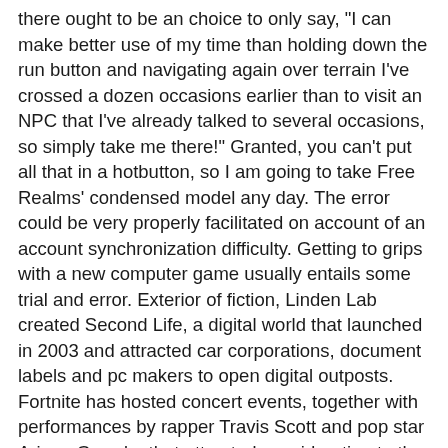there ought to be an choice to only say, 'I can make better use of my time than holding down the run button and navigating again over terrain I've crossed a dozen occasions earlier than to visit an NPC that I've already talked to several occasions, so simply take me there!' Granted, you can't put all that in a hotbutton, so I am going to take Free Realms' condensed model any day. The error could be very properly facilitated on account of an account synchronization difficulty. Getting to grips with a new computer game usually entails some trial and error. Exterior of fiction, Linden Lab created Second Life, a digital world that launched in 2003 and attracted car corporations, document labels and pc makers to open digital outposts. Fortnite has hosted concert events, together with performances by rapper Travis Scott and pop star Ariana Grande, that attracted consideration to the already standard shoot 'em up. Games like Minecraft, Roblox and Fortnite have additionally been described as metaverses. Simpler versions of a metaverse expertise, equivalent to Roblox or Fortnite, are already accessible. You can even enter existing metaverses, similar to Roblox and Minecraft, out of your pc, pill or cellphone. When that pair wears out, you can begin again or use more advanced polymers to craft sneakers that can go farther and quicker. Our greatest guess - and it's only a guess - is that the metaverse will start as a slate of competing platforms, every laying declare to being the